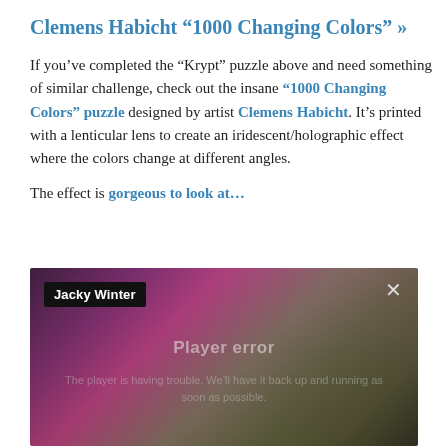Clemens Habicht “1000 Changing Colors” »
If you’ve completed the “Krypt” puzzle above and need something of similar challenge, check out the insane “1000 Changing Colors” puzzle designed by artist Clemens Habicht. It’s printed with a lenticular lens to create an iridescent/holographic effect where the colors change at different angles.
The effect is gorgeous to look at…
[Figure (screenshot): Video player screenshot showing a dark iridescent/holographic background with a 'Jacky Winter' label in the top left, a close button (x) in the top right, and a 'Player error' message with subtext 'The player is having trouble. We’ll have it back up and running as soon as possible.' in the center.]